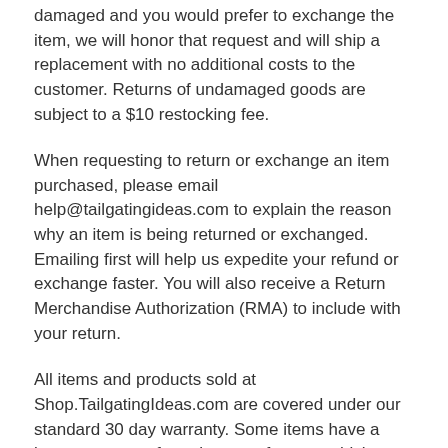damaged and you would prefer to exchange the item, we will honor that request and will ship a replacement with no additional costs to the customer. Returns of undamaged goods are subject to a $10 restocking fee.
When requesting to return or exchange an item purchased, please email help@tailgatingideas.com to explain the reason why an item is being returned or exchanged. Emailing first will help us expedite your refund or exchange faster. You will also receive a Return Merchandise Authorization (RMA) to include with your return.
All items and products sold at Shop.TailgatingIdeas.com are covered under our standard 30 day warranty. Some items have a longer warranty from the manufacturer which are specified on the individual product pages.